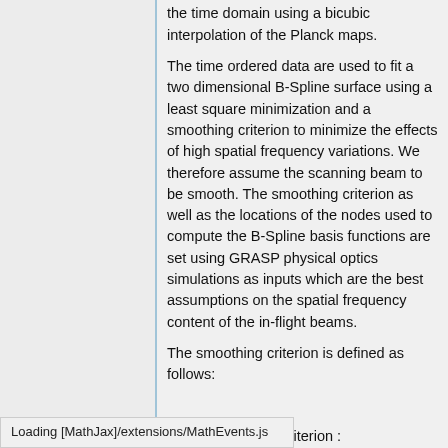subtract the astrophysical background in the time domain using a bicubic interpolation of the Planck maps.
The time ordered data are used to fit a two dimensional B-Spline surface using a least square minimization and a smoothing criterion to minimize the effects of high spatial frequency variations. We therefore assume the scanning beam to be smooth. The smoothing criterion as well as the locations of the nodes used to compute the B-Spline basis functions are set using GRASP physical optics simulations as inputs which are the best assumptions on the spatial frequency content of the in-flight beams.
The smoothing criterion is defined as follows:
and the inversion criterion :